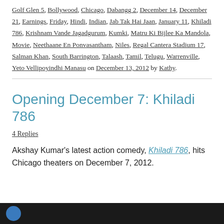Golf Glen 5, Bollywood, Chicago, Dabangg 2, December 14, December 21, Earnings, Friday, Hindi, Indian, Jab Tak Hai Jaan, January 11, Khiladi 786, Krishnam Vande Jagadgurum, Kumki, Matru Ki Bijlee Ka Mandola, Movie, Neethaane En Ponvasantham, Niles, Regal Cantera Stadium 17, Salman Khan, South Barrington, Talaash, Tamil, Telugu, Warrenville, Yeto Vellipoyindhi Manasu on December 13, 2012 by Kathy.
Opening December 7: Khiladi 786
4 Replies
Akshay Kumar's latest action comedy, Khiladi 786, hits Chicago theaters on December 7, 2012.
[Figure (photo): Dark background image bar at the bottom with a blue circular icon/avatar on the left side]